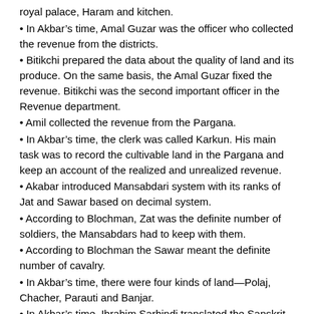royal palace, Haram and kitchen.
In Akbar's time, Amal Guzar was the officer who collected the revenue from the districts.
Bitikchi prepared the data about the quality of land and its produce. On the same basis, the Amal Guzar fixed the revenue. Bitikchi was the second important officer in the Revenue department.
Amil collected the revenue from the Pargana.
In Akbar's time, the clerk was called Karkun. His main task was to record the cultivable land in the Pargana and keep an account of the realized and unrealized revenue.
Akabar introduced Mansabdari system with its ranks of Jat and Sawar based on decimal system.
According to Blochman, Zat was the definite number of soldiers, the Mansabdars had to keep with them.
According to Blochman the Sawar meant the definite number of cavalry.
In Akbar's time, there were four kinds of land—Polaj, Chacher, Parauti and Banjar.
In Akbar's time, Ibrahim Sarhindi translated the Sanskrit